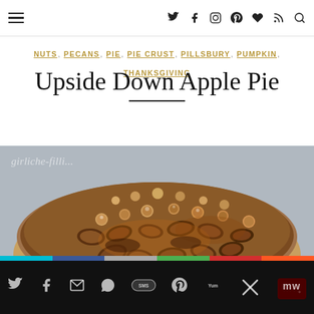☰ navigation with social icons: twitter, facebook, instagram, pinterest, heart, rss, search
NUTS , PECANS , PIE , PIE CRUST , PILLSBURY , PUMPKIN , THANKSGIVING
Upside Down Apple Pie
[Figure (photo): Close-up photo of an upside down apple pie topped with glazed pecans and mixed nuts on a plate. Watermark text 'girliche-filli...' visible in upper left.]
Social share bar with icons: Twitter, Facebook, email, WhatsApp, SMS, Pinterest, Yum, close, share